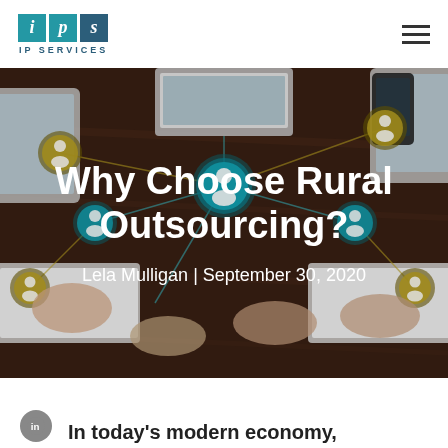IPS IP SERVICES
[Figure (photo): Aerial view of multiple people's hands working on laptops and tablets on a dark wooden table, with illustrated network/social connection icons overlaid in teal and gold circles connecting the devices]
Why Choose Rural Outsourcing?
Lela Mulligan | September 30, 2020
In today's modern economy,